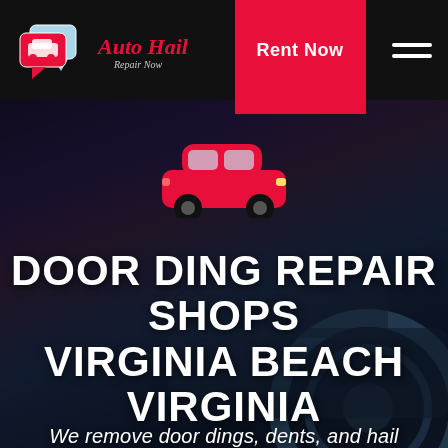[Figure (logo): Auto Hail Repair Now logo with red and white chat bubble icons and red cursive text on black navbar]
Rent Now
[Figure (illustration): Red car icon silhouette centered above hero title text on dark dramatic sky background]
DOOR DING REPAIR SHOPS VIRGINIA BEACH VIRGINIA
We remove door dings, dents, and hail